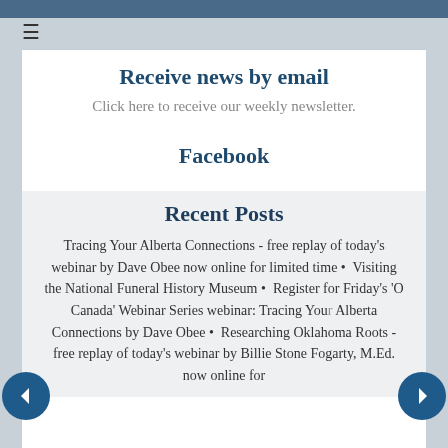Receive news by email
Click here to receive our weekly newsletter.
Facebook
Recent Posts
Tracing Your Alberta Connections - free replay of today's webinar by Dave Obee now online for limited time • Visiting the National Funeral History Museum • Register for Friday's 'O Canada' Webinar Series webinar: Tracing Your Alberta Connections by Dave Obee • Researching Oklahoma Roots - free replay of today's webinar by Billie Stone Fogarty, M.Ed. now online for